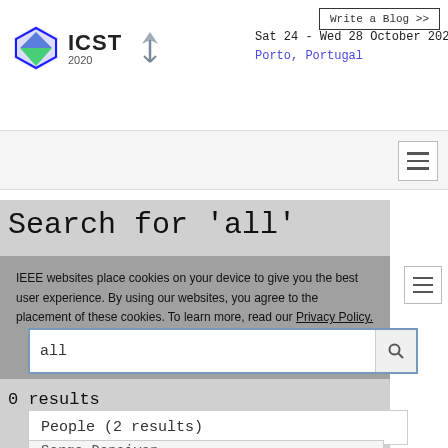ICST 2020 | Sat 24 - Wed 28 October 2020 | Porto, Portugal
Write a Blog >>
Search for 'all'
IEEE websites place cookies on your device to give you the best user experience. By using our websites, you agree to the placement of these cookies. To learn more, read our Privacy Policy.
Accept & Close
all
0 results
People (2 results)
Sorge Donaivan